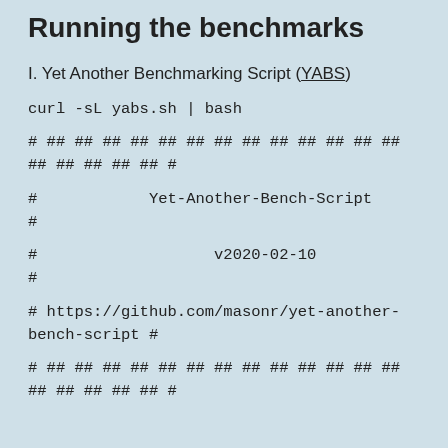Running the benchmarks
I. Yet Another Benchmarking Script (YABS)
curl -sL yabs.sh | bash
# ## ## ## ## ## ## ## ## ## ## ## ## ## ## ## ## ## ## #
#            Yet-Another-Bench-Script            #
#                   v2020-02-10                  #
# https://github.com/masonr/yet-another-bench-script #
# ## ## ## ## ## ## ## ## ## ## ## ## ## ## ## ## ## ## #